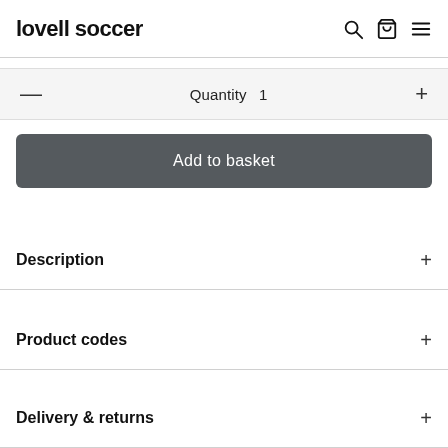lovell soccer
Quantity 1
Add to basket
Description
Product codes
Delivery & returns